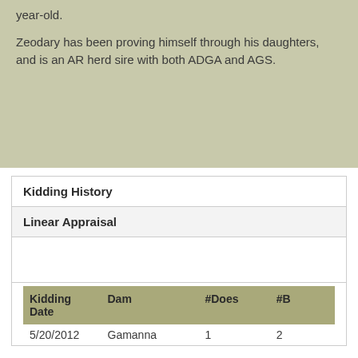year-old.
Zeodary has been proving himself through his daughters, and is an AR herd sire with both ADGA and AGS.
| Kidding History |
| --- |
| Linear Appraisal |
|  |
| Kidding Date | Dam | #Does | #B |